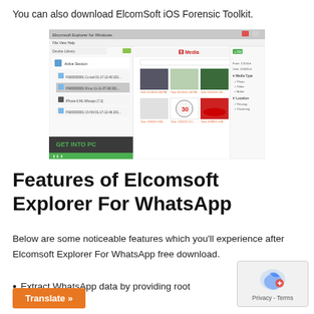You can also download ElcomSoft iOS Forensic Toolkit.
[Figure (screenshot): Screenshot of Elcomsoft Explorer for Windows application showing media library with photos and filter panel]
Features of Elcomsoft Explorer For WhatsApp
Below are some noticeable features which you'll experience after Elcomsoft Explorer For WhatsApp free download.
Extract WhatsApp data by providing root access.
S and Android.